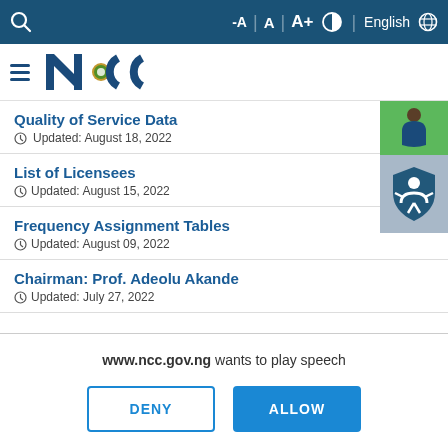NCC website toolbar with search, text resize controls (-A, A, A+), contrast toggle, English language selector
[Figure (logo): NCC (Nigerian Communications Commission) logo with hamburger menu icon on the left]
Quality of Service Data
Updated: August 18, 2022
List of Licensees
Updated: August 15, 2022
[Figure (illustration): Accessibility widget showing a person icon on green background and an accessibility person icon on blue/grey shield background]
Frequency Assignment Tables
Updated: August 09, 2022
Chairman: Prof. Adeolu Akande
Updated: July 27, 2022
www.ncc.gov.ng wants to play speech
DENY  ALLOW